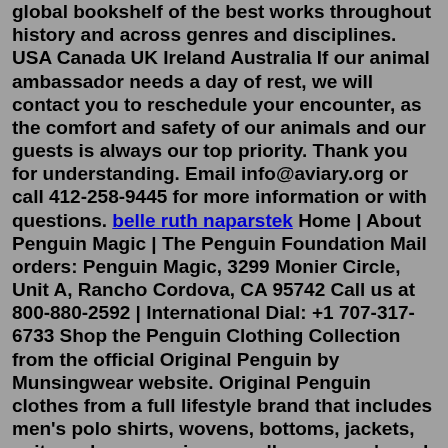global bookshelf of the best works throughout history and across genres and disciplines. USA Canada UK Ireland Australia If our animal ambassador needs a day of rest, we will contact you to reschedule your encounter, as the comfort and safety of our animals and our guests is always our top priority. Thank you for understanding. Email info@aviary.org or call 412-258-9445 for more information or with questions. belle ruth naparstek Home | About Penguin Magic | The Penguin Foundation Mail orders: Penguin Magic, 3299 Monier Circle, Unit A, Rancho Cordova, CA 95742 Call us at 800-880-2592 | International Dial: +1 707-317-6733 Shop the Penguin Clothing Collection from the official Original Penguin by Munsingwear website. Original Penguin clothes from a full lifestyle brand that includes men's polo shirts, wovens, bottoms, jackets, suits and accessories as well as women's and kids collections. Shop the Penguin Clothing Collection from the official Original Penguin by Munsingwear website. Original Penguin clothes